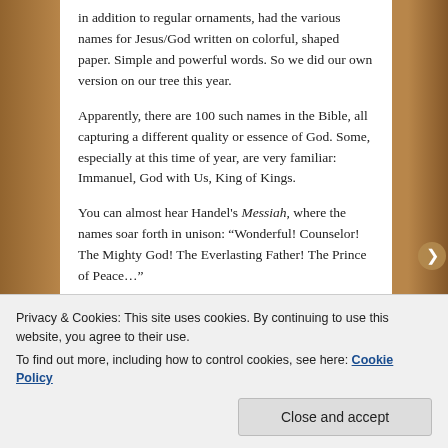in addition to regular ornaments, had the various names for Jesus/God written on colorful, shaped paper. Simple and powerful words. So we did our own version on our tree this year.
Apparently, there are 100 such names in the Bible, all capturing a different quality or essence of God. Some, especially at this time of year, are very familiar: Immanuel, God with Us, King of Kings.
You can almost hear Handel's Messiah, where the names soar forth in unison: “Wonderful! Counselor! The Mighty God! The Everlasting Father! The Prince of Peace…”
Privacy & Cookies: This site uses cookies. By continuing to use this website, you agree to their use.
To find out more, including how to control cookies, see here: Cookie Policy